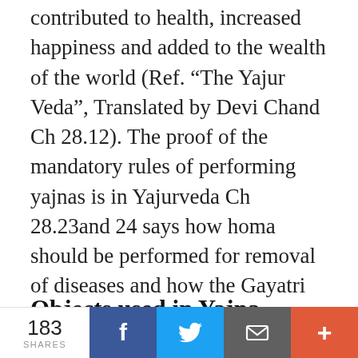contributed to health, increased happiness and added to the wealth of the world (Ref. “The Yajur Veda”, Translated by Devi Chand Ch 28.12). The proof of the mandatory rules of performing yajnas is in Yajurveda Ch 28.23and 24 says how homa should be performed for removal of diseases and how the Gayatri verse, the protection of Vedic speech, it’s longevity and understanding of essence of knowledge were preserved and promoted by performing Yajnas.
Objects used in Yajna
183 SHARES